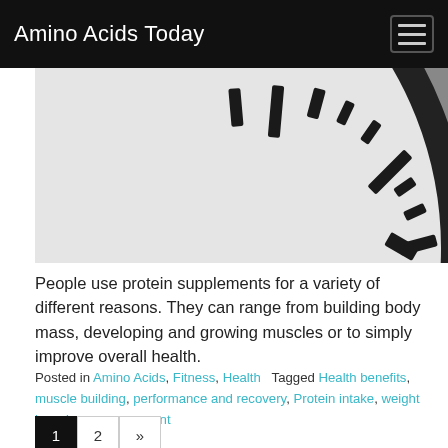Amino Acids Today
[Figure (photo): Close-up photo of a clock face showing black tick marks on a white clock face with a dark circular border]
People use protein supplements for a variety of different reasons. They can range from building body mass, developing and growing muscles or to simply improve overall health.
Posted in Amino Acids, Fitness, Health   Tagged Health benefits, muscle building, performance and recovery, Protein intake, weight loss   Leave a comment
1  2  »
Search …  Search